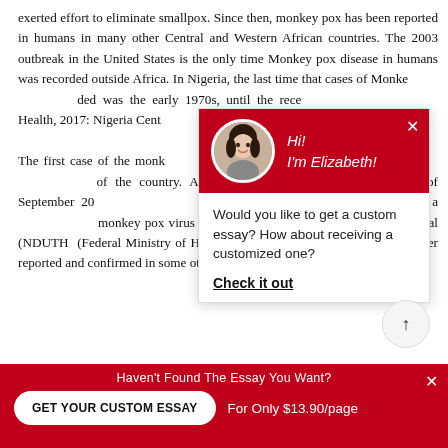exerted effort to eliminate smallpox. Since then, monkey pox has been reported in humans in many other Central and Western African countries. The 2003 outbreak in the United States is the only time Monkey pox disease in humans was recorded outside Africa. In Nigeria, the last time that cases of Monke... early 1970s, until the rece... Health, 2017: Nigeria Cent... 2017).
The first case of the monk... discovered / announced a... of the country. According... the 22nd of September 20... control (NCDC) received a... monkey pox virus disease... teaching hospital (NDUTH)... (Federal Ministry of Health, 2017), with suspected c... later reported and confirmed in some other States: Bayelsa...
[Figure (screenshot): Chat popup widget with a woman avatar (Elizabeth), red header saying 'Hi! I'm Elizabeth!', body text 'Would you like to get a custom essay? How about receiving a customized one?' and a bold underlined 'Check it out' link.]
Haven't Found The Essay You Want?
GET YOUR CUSTOM ESSAY    For Only $13.90/page